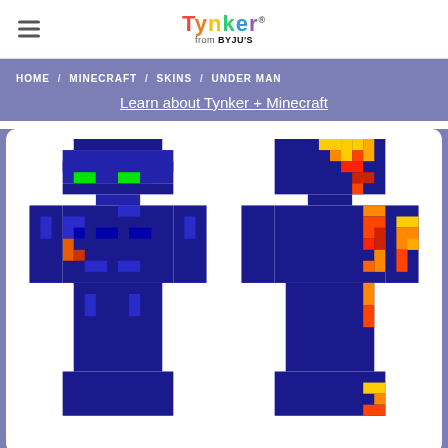Tynker™ from BYJU'S
HOME / MINECRAFT / SKINS / UNDER MAN
Learn about Tynker + Minecraft
[Figure (illustration): Two Minecraft character skins shown side-by-side. Left skin is a predominantly dark blue pixelated humanoid figure with green eyes and a small orange mark on its torso. Right skin is the same figure from the back with orange, red, and yellow flame-like pixel patterns on a dark blue background.]